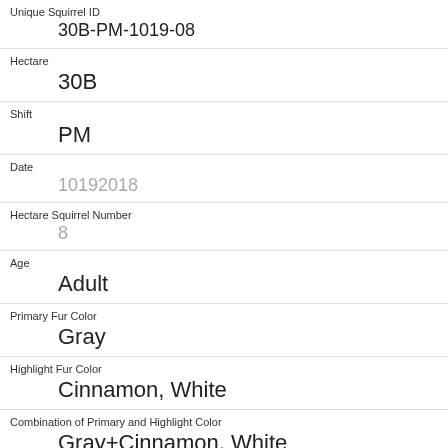| Unique Squirrel ID | 30B-PM-1019-08 |
| Hectare | 30B |
| Shift | PM |
| Date | 10192018 |
| Hectare Squirrel Number | 8 |
| Age | Adult |
| Primary Fur Color | Gray |
| Highlight Fur Color | Cinnamon, White |
| Combination of Primary and Highlight Color | Gray+Cinnamon, White |
| Color notes |  |
| Location |  |